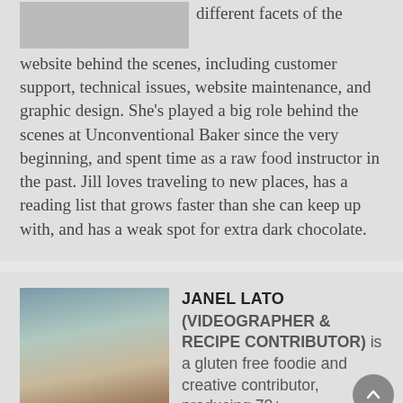[Figure (photo): Partial top image of a person, cropped at top of page]
different facets of the website behind the scenes, including customer support, technical issues, website maintenance, and graphic design. She's played a big role behind the scenes at Unconventional Baker since the very beginning, and spent time as a raw food instructor in the past. Jill loves traveling to new places, has a reading list that grows faster than she can keep up with, and has a weak spot for extra dark chocolate.
[Figure (photo): Photo of Janel Lato outdoors with wind-blown hair]
JANEL LATO (VIDEOGRAPHER & RECIPE CONTRIBUTOR) is a gluten free foodie and creative contributor, producing 70+